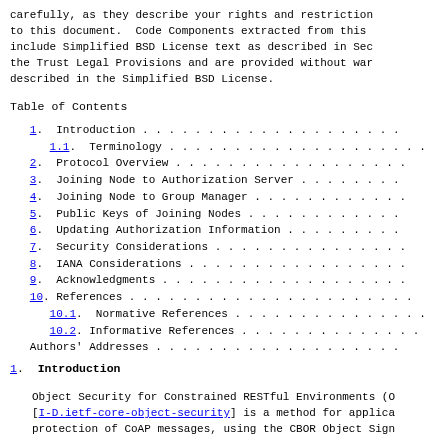carefully, as they describe your rights and restrictions to this document.  Code Components extracted from this include Simplified BSD License text as described in Sec the Trust Legal Provisions and are provided without war described in the Simplified BSD License.
Table of Contents
1.  Introduction . . . . . . . . . . . . . . . . . .
1.1.  Terminology . . . . . . . . . . . . . . . .
2.  Protocol Overview . . . . . . . . . . . . . . . .
3.  Joining Node to Authorization Server . . . . . .
4.  Joining Node to Group Manager . . . . . . . . . .
5.  Public Keys of Joining Nodes . . . . . . . . . .
6.  Updating Authorization Information . . . . . . .
7.  Security Considerations . . . . . . . . . . . . .
8.  IANA Considerations . . . . . . . . . . . . . . .
9.  Acknowledgments . . . . . . . . . . . . . . . . .
10. References . . . . . . . . . . . . . . . . . . .
10.1.  Normative References . . . . . . . . . . .
10.2.  Informative References . . . . . . . . . .
Authors' Addresses . . . . . . . . . . . . . . . . .
1.  Introduction
Object Security for Constrained RESTful Environments (O [I-D.ietf-core-object-security] is a method for applica protection of CoAP messages, using the CBOR Object Sign